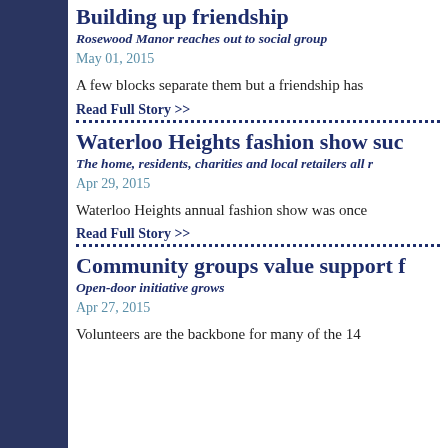Building up friendship
Rosewood Manor reaches out to social group
May 01, 2015
A few blocks separate them but a friendship has
Read Full Story >>
Waterloo Heights fashion show suc...
The home, residents, charities and local retailers all r...
Apr 29, 2015
Waterloo Heights annual fashion show was once
Read Full Story >>
Community groups value support f...
Open-door initiative grows
Apr 27, 2015
Volunteers are the backbone for many of the 14